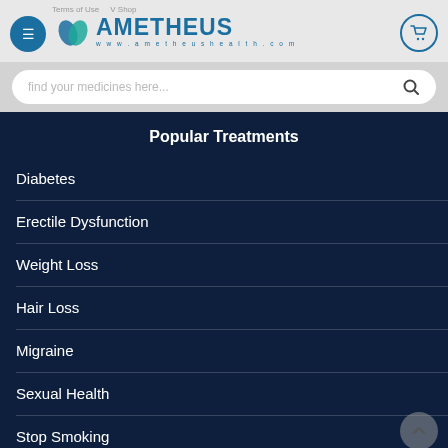Terms of Use · AMETHEUS www.ametheushealth.com
find your medicines here...
Popular Treatments
Diabetes
Erectile Dysfunction
Weight Loss
Hair Loss
Migraine
Sexual Health
Stop Smoking